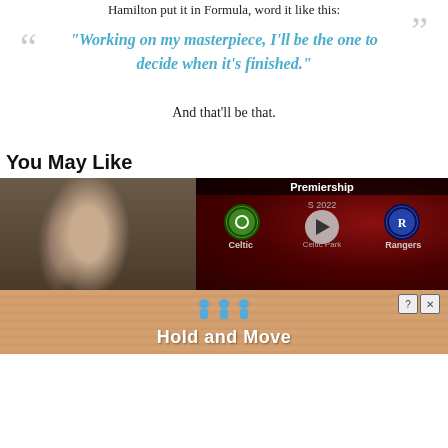Hamilton put it in Formula, word it like this:
“Working on my masterpiece, I’ll be the one to decide when it’s finished.”
And that'll be that.
You May Like
Sponsored Links by Taboola
[Figure (photo): Close-up photo of a hand touching fur or hair, left panel of media row]
[Figure (screenshot): Video thumbnail showing a Premiership football match between Celtic and Rangers at Celtic Park, with a play button overlay on a dark red geometric background. Shows team badges, date 2022, team names Celtic and Rangers, venue Celtic Park.]
[Figure (screenshot): Bottom banner ad showing 'Hold and Move' with blue human figure icons on a wooden texture background, with help and close buttons in the top right.]